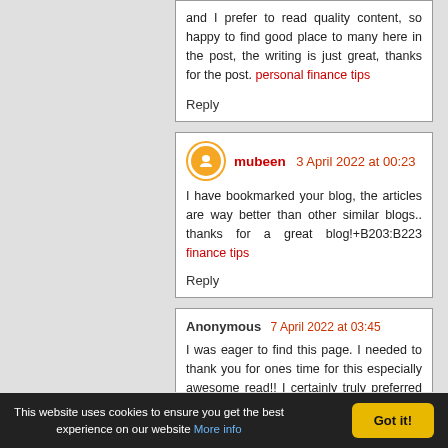and I prefer to read quality content, so happy to find good place to many here in the post, the writing is just great, thanks for the post. personal finance tips
Reply
mubeen 3 April 2022 at 00:23
I have bookmarked your blog, the articles are way better than other similar blogs.. thanks for a great blog!+B203:B223 finance tips
Reply
Anonymous 7 April 2022 at 03:45
I was eager to find this page. I needed to thank you for ones time for this especially awesome read!! I certainly truly preferred all aspects of it and I likewise have you book-set apart to look at new data in your blog.
what does health insurance cover
Reply
This website uses cookies to ensure you get the best experience on our website More info